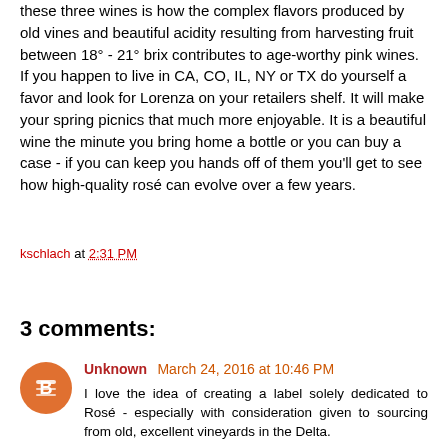these three wines is how the complex flavors produced by old vines and beautiful acidity resulting from harvesting fruit between 18° - 21° brix contributes to age-worthy pink wines. If you happen to live in CA, CO, IL, NY or TX do yourself a favor and look for Lorenza on your retailers shelf. It will make your spring picnics that much more enjoyable. It is a beautiful wine the minute you bring home a bottle or you can buy a case - if you can keep you hands off of them you'll get to see how high-quality rosé can evolve over a few years.
kschlach at 2:31 PM
Share
3 comments:
Unknown March 24, 2016 at 10:46 PM
I love the idea of creating a label solely dedicated to Rosé - especially with consideration given to sourcing from old, excellent vineyards in the Delta.